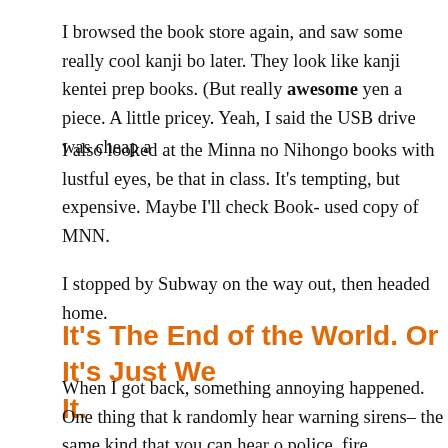I browsed the book store again, and saw some really cool kanji bo later. They look like kanji kentei prep books. (But really awesome yen a piece. A little pricey. Yeah, I said the USB drive was cheap a
I also looked at the Minna no Nihongo books with lustful eyes, be that in class. It’s tempting, but expensive. Maybe I’ll check Book- used copy of MNN.
I stopped by Subway on the way out, then headed home.
It’s The End of the World. Or It’s Just Wed It.
When I got back, something annoying happened. One thing that k randomly hear warning sirens– the same kind that you can hear o police, fire, ambulance, or just Impending Doom. I heard them ag quickly flipped on NHK, just to make sure I didn’t have to duck, c never know.)